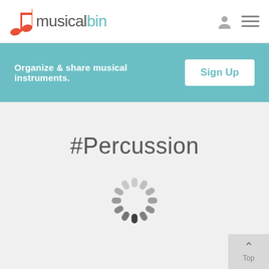[Figure (logo): musicalbin logo with red eighth note icon and text 'musicalbin' where 'bin' is in teal color]
[Figure (other): User profile icon (gray silhouette) and hamburger menu icon in top right of header]
Organize & share musical instruments.
Sign Up
#Percussion
[Figure (other): Loading spinner / activity indicator circle made of grey and dark segments]
Top